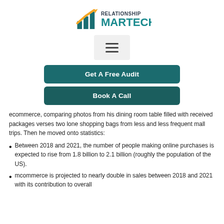[Figure (logo): Relationship Martech logo with orange/teal bar chart icon and arrow, teal MARTECH text]
[Figure (other): Hamburger menu button with three horizontal lines]
Get A Free Audit
Book A Call
ecommerce, comparing photos from his dining room table filled with received packages verses two lone shopping bags from less and less frequent mall trips. Then he moved onto statistics:
Between 2018 and 2021, the number of people making online purchases is expected to rise from 1.8 billion to 2.1 billion (roughly the population of the US).
mcommerce is projected to nearly double in sales between 2018 and 2021 with its contribution to overall